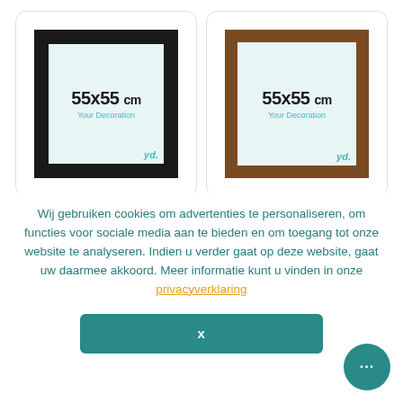[Figure (photo): Two picture frames showing 55x55 cm size. Left: black frame on white card background. Right: brown/walnut frame on white card background. Both show light blue interior with '55x55 cm', 'Your Decoration' text and 'yd.' logo.]
Wij gebruiken cookies om advertenties te personaliseren, om functies voor sociale media aan te bieden en om toegang tot onze website te analyseren. Indien u verder gaat op deze website, gaat uw daarmee akkoord. Meer informatie kunt u vinden in onze privacyverklaring
X